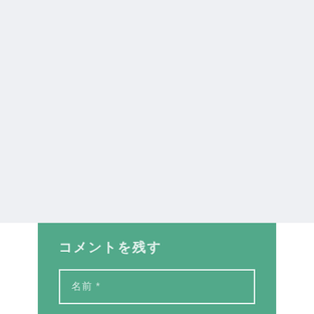[Figure (other): Light gray empty background area filling the top portion of the page]
コメントを残す
名前 *